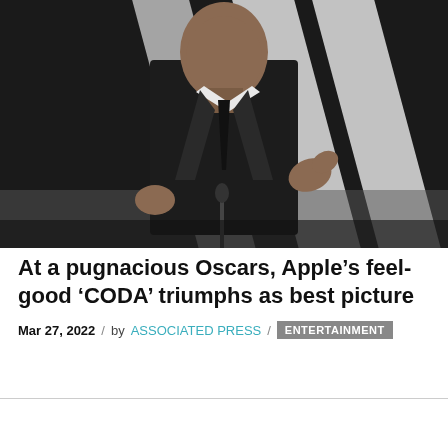[Figure (photo): A man in a black suit and tie speaking at a podium with a microphone at what appears to be an awards ceremony stage with white diagonal stripe decorations in the background]
At a pugnacious Oscars, Apple’s feel-good ‘CODA’ triumphs as best picture
Mar 27, 2022 / by ASSOCIATED PRESS / ENTERTAINMENT